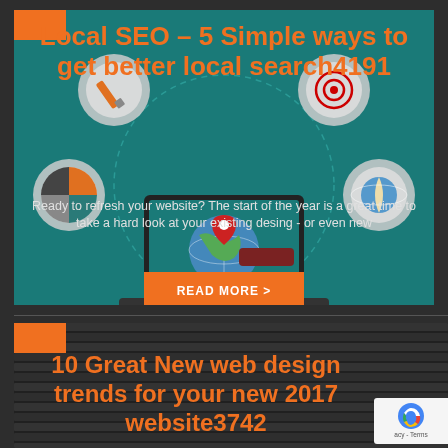[Figure (illustration): Blog post card with teal background showing SEO illustration with laptop, globe, location pin, and circular icons for analytics/targeting. Orange 'READ MORE >' button at bottom.]
Local SEO – 5 Simple ways to get better local search4191
Ready to refresh your website? The start of the year is a great time to take a hard look at your existing desing - or even new
[Figure (illustration): Second blog post card with dark background showing server/tech equipment photo. Orange tab in top-left corner.]
10 Great New web design trends for your new 2017 website3742